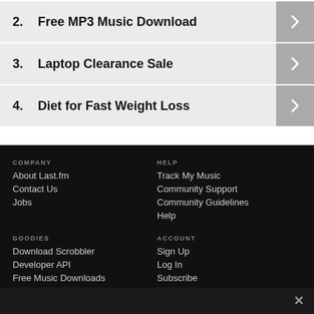2. Free MP3 Music Download
3. Laptop Clearance Sale
4. Diet for Fast Weight Loss
COMPANY
About Last.fm
Contact Us
Jobs
HELP
Track My Music
Community Support
Community Guidelines
Help
GOODIES
Download Scrobbler
Developer API
Free Music Downloads
ACCOUNT
Sign Up
Log In
Subscribe